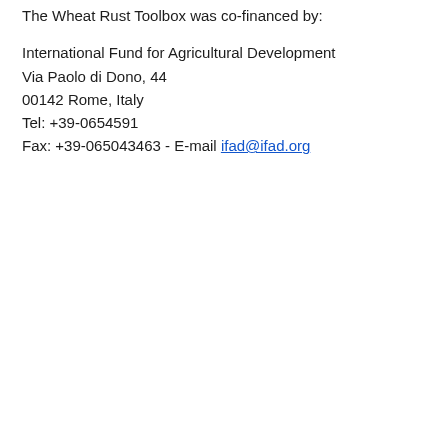The Wheat Rust Toolbox was co-financed by:
International Fund for Agricultural Development
Via Paolo di Dono, 44
00142 Rome, Italy
Tel: +39-0654591
Fax: +39-065043463 - E-mail ifad@ifad.org